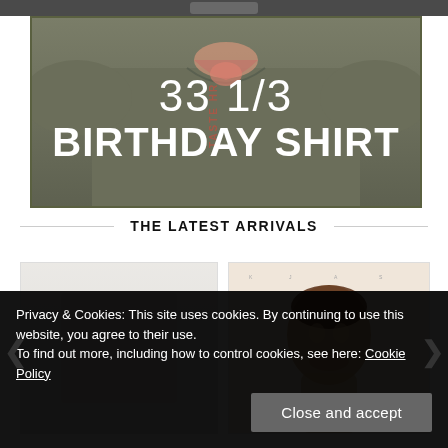[Figure (photo): Cropped top of a product (t-shirt) image, partial view at very top of page]
[Figure (photo): Army green t-shirt with lips/tongue graphic and bold white text overlay reading '33 1/3 BIRTHDAY SHIRT']
33 1/3
BIRTHDAY SHIRT
THE LATEST ARRIVALS
[Figure (photo): Product thumbnail on light gray background, left card in latest arrivals carousel]
[Figure (photo): Product thumbnail on peach/skin-tone background with small header text and portrait/head illustration]
Privacy & Cookies: This site uses cookies. By continuing to use this website, you agree to their use.
To find out more, including how to control cookies, see here: Cookie Policy
Close and accept